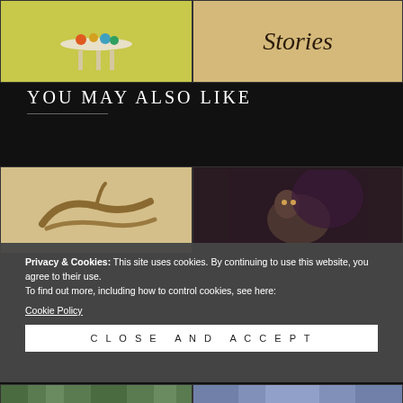[Figure (photo): Photo of a small round white side table with colorful objects on top, on a yellow background]
[Figure (photo): Photo of a book cover showing the word 'Stories' in rustic handwritten lettering on a tan/beige background]
YOU MAY ALSO LIKE
[Figure (photo): Photo of a piece of driftwood or natural wood on a tan/sandy background]
[Figure (photo): Photo of an animal (possibly a bear or similar) in a dark, moody setting]
Privacy & Cookies: This site uses cookies. By continuing to use this website, you agree to their use.
To find out more, including how to control cookies, see here:
Cookie Policy
CLOSE AND ACCEPT
[Figure (photo): Photo with green/forest tones, partially visible at bottom]
[Figure (photo): Photo with blue tones, partially visible at bottom]